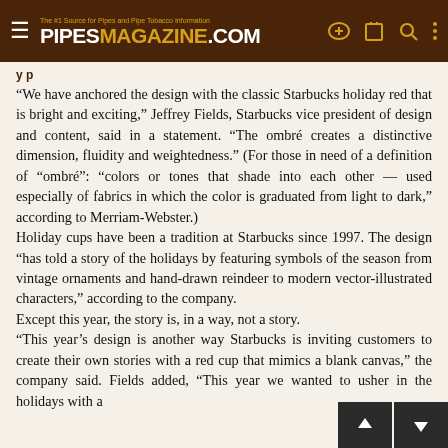The #1 Source for Pipes and Pipe Tobacco Information PIPESMAGAZINE.COM
“We have anchored the design with the classic Starbucks holiday red that is bright and exciting,” Jeffrey Fields, Starbucks vice president of design and content, said in a statement. “The ombré creates a distinctive dimension, fluidity and weightedness.” (For those in need of a definition of “ombré”: “colors or tones that shade into each other — used especially of fabrics in which the color is graduated from light to dark,” according to Merriam-Webster.)
Holiday cups have been a tradition at Starbucks since 1997. The design “has told a story of the holidays by featuring symbols of the season from vintage ornaments and hand-drawn reindeer to modern vector-illustrated characters,” according to the company.
Except this year, the story is, in a way, not a story.
“This year’s design is another way Starbucks is inviting customers to create their own stories with a red cup that mimics a blank canvas,” the company said. Fields added, “This year we wanted to usher in the holidays with a